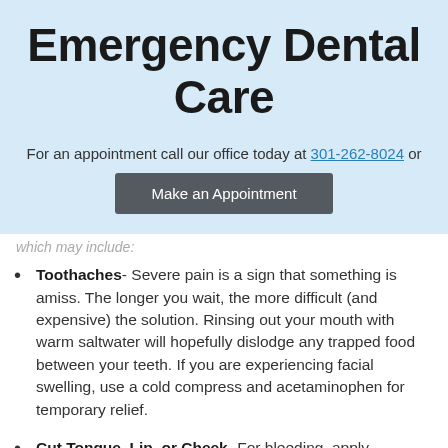Emergency Dental Care
For an appointment call our office today at 301-262-8024 or
Make an Appointment
which may include:
Toothaches- Severe pain is a sign that something is amiss. The longer you wait, the more difficult (and expensive) the solution. Rinsing out your mouth with warm saltwater will hopefully dislodge any trapped food between your teeth. If you are experiencing facial swelling, use a cold compress and acetaminophen for temporary relief.
Cut Tongue, Lip, or Cheek- For bleeding, apply